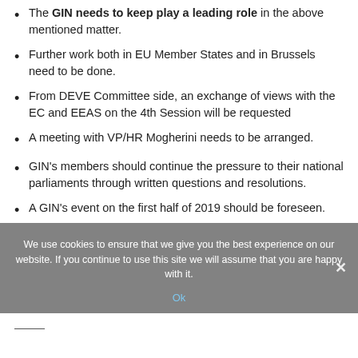The GIN needs to keep play a leading role in the above mentioned matter.
Further work both in EU Member States and in Brussels need to be done.
From DEVE Committee side, an exchange of views with the EC and EEAS on the 4th Session will be requested
A meeting with VP/HR Mogherini needs to be arranged.
GIN's members should continue the pressure to their national parliaments through written questions and resolutions.
A GIN's event on the first half of 2019 should be foreseen.
We use cookies to ensure that we give you the best experience on our website. If you continue to use this site we will assume that you are happy with it.